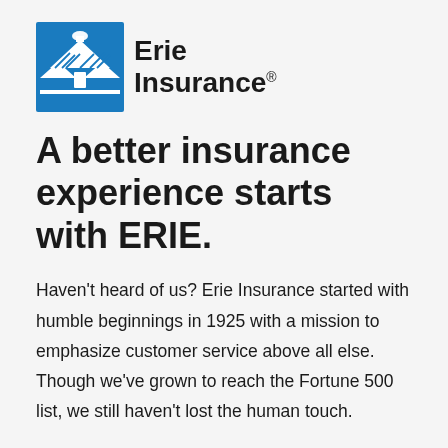[Figure (logo): Erie Insurance logo — blue building/house icon with white line art and 'Erie Insurance' text with registered trademark symbol]
A better insurance experience starts with ERIE.
Haven't heard of us? Erie Insurance started with humble beginnings in 1925 with a mission to emphasize customer service above all else. Though we've grown to reach the Fortune 500 list, we still haven't lost the human touch.
Contact Terpstra Insurance Agency, Inc today